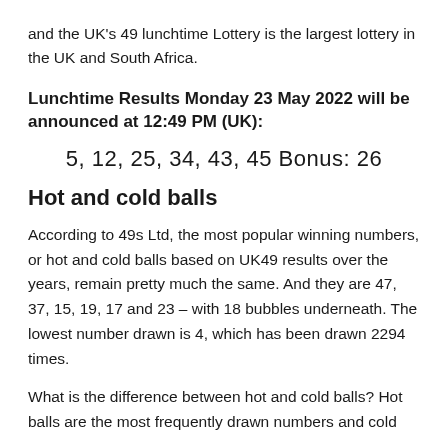and the UK's 49 lunchtime Lottery is the largest lottery in the UK and South Africa.
Lunchtime Results Monday 23 May 2022 will be announced at 12:49 PM (UK):
5, 12, 25, 34, 43, 45 Bonus: 26
Hot and cold balls
According to 49s Ltd, the most popular winning numbers, or hot and cold balls based on UK49 results over the years, remain pretty much the same. And they are 47, 37, 15, 19, 17 and 23 – with 18 bubbles underneath. The lowest number drawn is 4, which has been drawn 2294 times.
What is the difference between hot and cold balls? Hot balls are the most frequently drawn numbers and cold